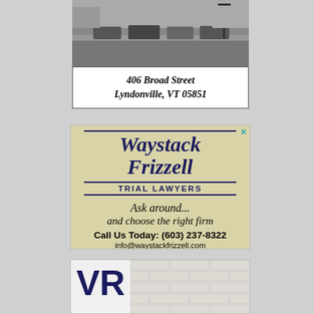[Figure (photo): Black and white street photo showing parked cars and a street scene, likely Broad Street in Lyndonville VT]
406 Broad Street
Lyndonville, VT 05851
[Figure (infographic): Waystack Frizzell Trial Lawyers advertisement on tan/khaki background. Text reads: Waystack Frizzell, TRIAL LAWYERS, Ask around... and choose the right firm, Call Us Today: (603) 237-8322, info@waystackfrizzell.com]
[Figure (logo): VR logo advertisement with large VR letters in navy blue and brick wall background pattern]